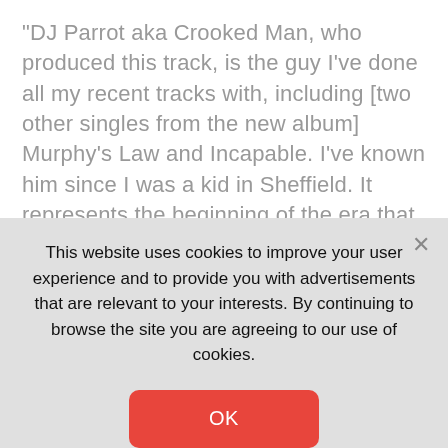“DJ Parrot aka Crooked Man, who produced this track, is the guy I’ve done all my recent tracks with, including [two other singles from the new album] Murphy’s Law and Incapable. I’ve known him since I was a kid in Sheffield. It represents the beginning of the era that we are now in.” Beyond this, Murphy says she has nearly finished writing another album, has an “off-piste project on the go” and is “making lots of amazing club music” – despite the fact that “there are no clubs open now”. The swelling slow-mo disco track was remixed by Mano Le Tough the same year, as well as by others including New York DJ
This website uses cookies to improve your user experience and to provide you with advertisements that are relevant to your interests. By continuing to browse the site you are agreeing to our use of cookies.